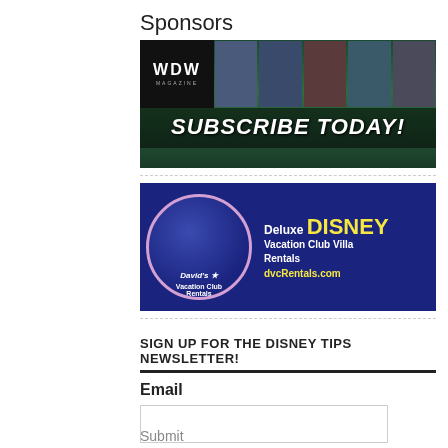Sponsors
[Figure (illustration): WDW Magazine advertisement showing magazine covers and text 'SUBSCRIBE TODAY!']
[Figure (illustration): David's Vacation Club Rentals advertisement showing 'Deluxe DISNEY Vacation Club Villa Rentals dvcRentals.com']
SIGN UP FOR THE DISNEY TIPS NEWSLETTER!
Email
Submit